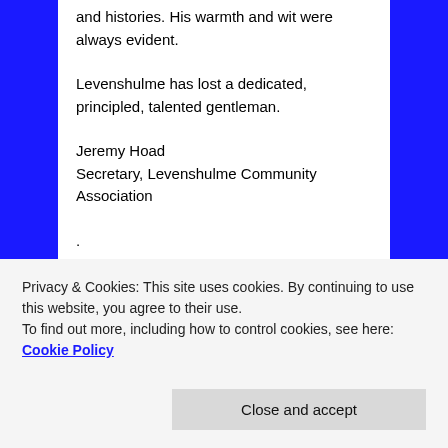and histories. His warmth and wit were always evident.
Levenshulme has lost a dedicated, principled, talented gentleman.
Jeremy Hoad
Secretary, Levenshulme Community Association
.
An article honouring Malcolm in the Manchester Evening News is available HERE.
.
Privacy & Cookies: This site uses cookies. By continuing to use this website, you agree to their use.
To find out more, including how to control cookies, see here: Cookie Policy
Close and accept